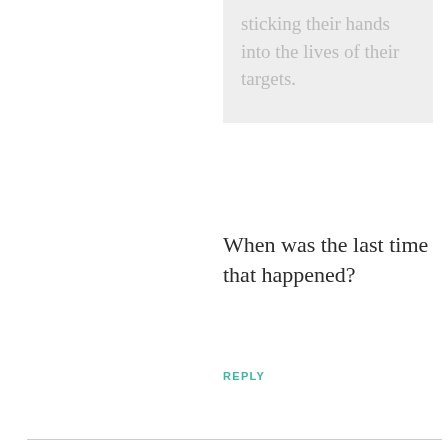sticking their hands into the lives of their targets.
When was the last time that happened?
REPLY